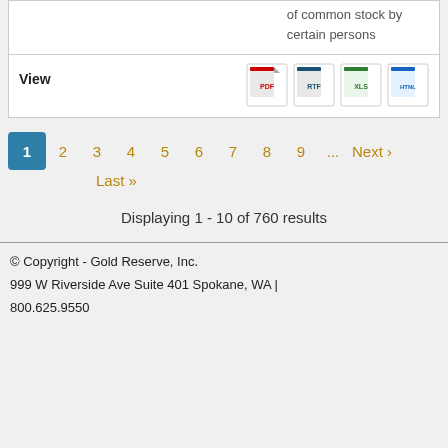of common stock by certain persons
View
[Figure (screenshot): Row with View label and file format icons: PDF, RTF, XLS, HTNL]
1 2 3 4 5 6 7 8 9 ... Next › Last »
Displaying 1 - 10 of 760 results
© Copyright - Gold Reserve, Inc.
999 W Riverside Ave Suite 401 Spokane, WA | 800.625.9550